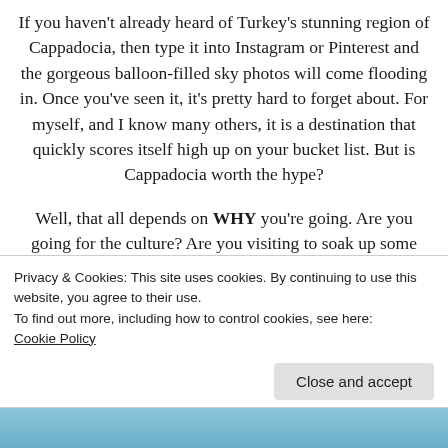If you haven't already heard of Turkey's stunning region of Cappadocia, then type it into Instagram or Pinterest and the gorgeous balloon-filled sky photos will come flooding in. Once you've seen it, it's pretty hard to forget about. For myself, and I know many others, it is a destination that quickly scores itself high up on your bucket list. But is Cappadocia worth the hype?
Well, that all depends on WHY you're going. Are you going for the culture? Are you visiting to soak up some history? Do you want to witness the hundreds of balloons that take off at sunrise?
Privacy & Cookies: This site uses cookies. By continuing to use this website, you agree to their use.
To find out more, including how to control cookies, see here: Cookie Policy